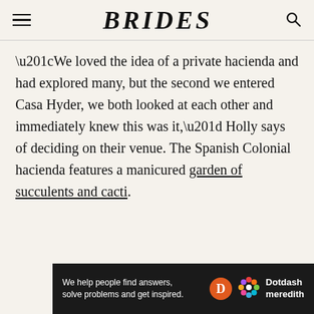BRIDES
“We loved the idea of a private hacienda and had explored many, but the second we entered Casa Hyder, we both looked at each other and immediately knew this was it,” Holly says of deciding on their venue. The Spanish Colonial hacienda features a manicured garden of succulents and cacti.
[Figure (other): Dotdash Meredith advertisement banner with text: We help people find answers, solve problems and get inspired.]